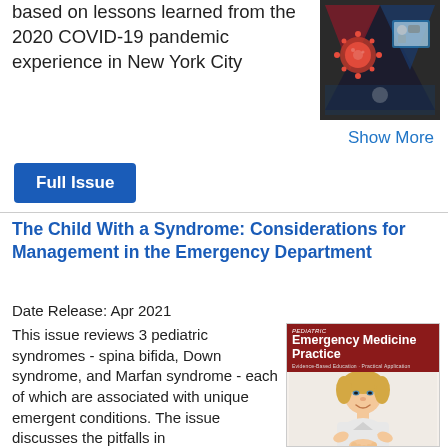based on lessons learned from the 2020 COVID-19 pandemic experience in New York City
[Figure (photo): Triangular composite image showing COVID-19 virus particle, medical/lab scene, and telehealth consultation]
Show More
Full Issue
The Child With a Syndrome: Considerations for Management in the Emergency Department
Date Release: Apr 2021
This issue reviews 3 pediatric syndromes - spina bifida, Down syndrome, and Marfan syndrome - each of which are associated with unique emergent conditions. The issue discusses the pitfalls in
[Figure (photo): Cover of Pediatric Emergency Medicine Practice journal showing a smiling child with Down syndrome]